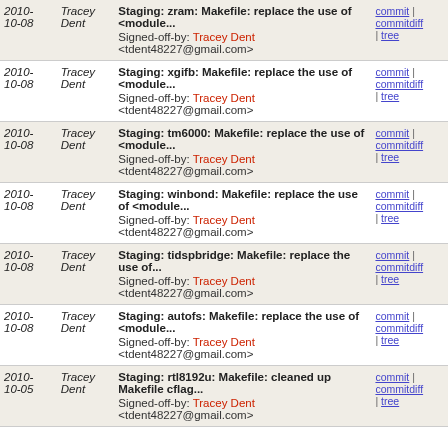| Date | Author | Message | Links |
| --- | --- | --- | --- |
| 2010-10-08 | Tracey Dent | Staging: zram: Makefile: replace the use of <module...
Signed-off-by: Tracey Dent <tdent48227@gmail.com> | commit | commitdiff | tree |
| 2010-10-08 | Tracey Dent | Staging: xgifb: Makefile: replace the use of <module...
Signed-off-by: Tracey Dent <tdent48227@gmail.com> | commit | commitdiff | tree |
| 2010-10-08 | Tracey Dent | Staging: tm6000: Makefile: replace the use of <module...
Signed-off-by: Tracey Dent <tdent48227@gmail.com> | commit | commitdiff | tree |
| 2010-10-08 | Tracey Dent | Staging: winbond: Makefile: replace the use of <module...
Signed-off-by: Tracey Dent <tdent48227@gmail.com> | commit | commitdiff | tree |
| 2010-10-08 | Tracey Dent | Staging: tidspbridge: Makefile: replace the use of...
Signed-off-by: Tracey Dent <tdent48227@gmail.com> | commit | commitdiff | tree |
| 2010-10-08 | Tracey Dent | Staging: autofs: Makefile: replace the use of <module...
Signed-off-by: Tracey Dent <tdent48227@gmail.com> | commit | commitdiff | tree |
| 2010-10-05 | Tracey Dent | Staging: rtl8192u: Makefile: cleaned up Makefile cflag...
Signed-off-by: Tracey Dent <tdent48227@gmail.com> | commit | commitdiff | tree |